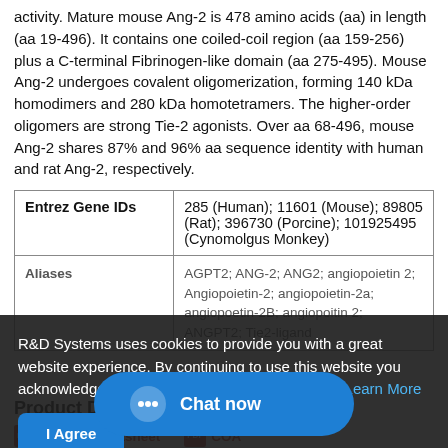activity. Mature mouse Ang-2 is 478 amino acids (aa) in length (aa 19-496). It contains one coiled-coil region (aa 159-256) plus a C-terminal Fibrinogen-like domain (aa 275-495). Mouse Ang-2 undergoes covalent oligomerization, forming 140 kDa homodimers and 280 kDa homotetramers. The higher-order oligomers are strong Tie-2 agonists. Over aa 68-496, mouse Ang-2 shares 87% and 96% aa sequence identity with human and rat Ang-2, respectively.
|  |  |
| --- | --- |
| Entrez Gene IDs | 285 (Human); 11601 (Mouse); 89805 (Rat); 396730 (Porcine); 101925495 (Cynomolgus Monkey) |
| Aliases | AGPT2; ANG-2; ANG2; angiopoietin 2; Angiopoietin-2; angiopoietin-2a; angiopoetin-2B; angiopoitin 2; ANGPT2; Tie2-ligand |
R&D Systems uses cookies to provide you with a great website experience. By continuing to use this website you acknowledge this and agree to our cookie policy. Learn More
Product Datasheets
Product Datasheet
COA